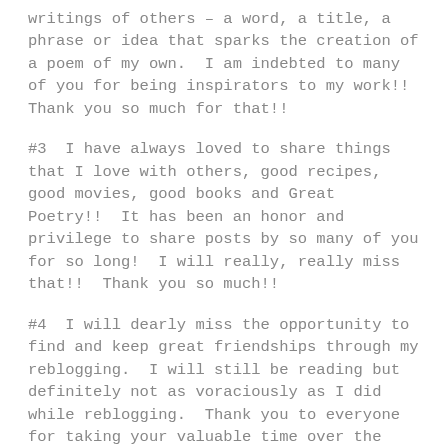writings of others – a word, a title, a phrase or idea that sparks the creation of a poem of my own.  I am indebted to many of you for being inspirators to my work!!  Thank you so much for that!!
#3  I have always loved to share things that I love with others, good recipes, good movies, good books and Great Poetry!!  It has been an honor and privilege to share posts by so many of you for so long!  I will really, really miss that!!  Thank you so much!!
#4  I will dearly miss the opportunity to find and keep great friendships through my reblogging.  I will still be reading but definitely not as voraciously as I did while reblogging.  Thank you to everyone for taking your valuable time over the last two years to come view, comment and support my blog and all